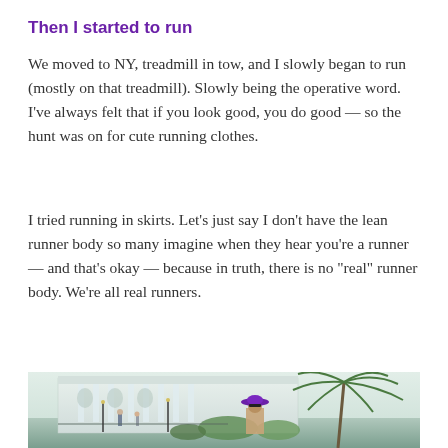Then I started to run
We moved to NY, treadmill in tow, and I slowly began to run (mostly on that treadmill). Slowly being the operative word. I’ve always felt that if you look good, you do good — so the hunt was on for cute running clothes.
I tried running in skirts. Let’s just say I don’t have the lean runner body so many imagine when they hear you’re a runner — and that’s okay — because in truth, there is no “real” runner body. We’re all real runners.
[Figure (photo): Outdoor photo of a woman wearing a purple wide-brim hat and sunglasses in front of a large white neoclassical building, with palm trees, green shrubs, and other people visible in the background on a sunny day.]